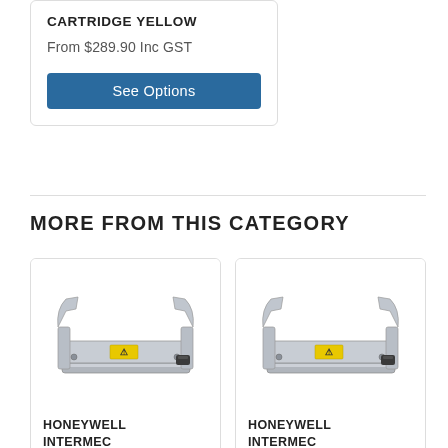CARTRIDGE YELLOW
From $289.90 Inc GST
See Options
MORE FROM THIS CATEGORY
[Figure (photo): Honeywell Intermec printhead hardware component, silver metallic thermal print head with yellow warning label]
HONEYWELL INTERMEC
[Figure (photo): Honeywell Intermec printhead hardware component, silver metallic thermal print head with yellow warning label]
HONEYWELL INTERMEC